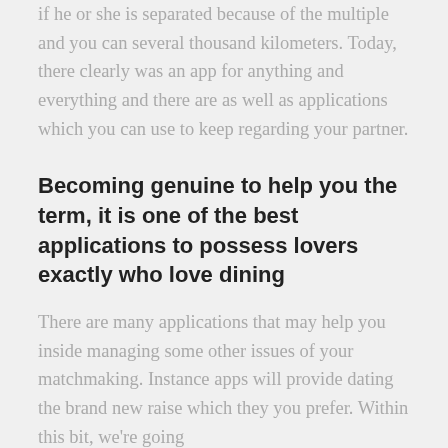if he or she is separated because of the multiple and you can several thousand kilometers. Today, there clearly was an app for anything and everything and there are as well as applications which you can use to keep regarding your partner.
Becoming genuine to help you the term, it is one of the best applications to possess lovers exactly who love dining
There are many applications that may help you inside managing some other issues of your matchmaking. Instance apps will provide dating the brand new raise which they you prefer. Within this bit, we're going